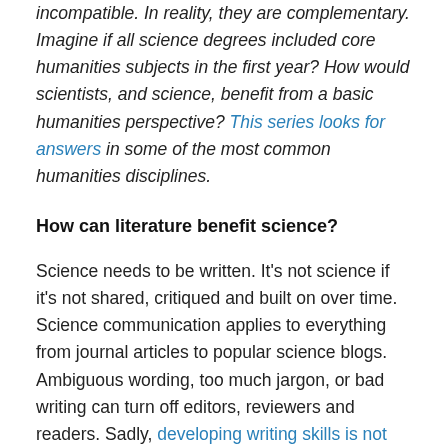incompatible. In reality, they are complementary. Imagine if all science degrees included core humanities subjects in the first year? How would scientists, and science, benefit from a basic humanities perspective? This series looks for answers in some of the most common humanities disciplines.
How can literature benefit science?
Science needs to be written. It's not science if it's not shared, critiqued and built on over time. Science communication applies to everything from journal articles to popular science blogs. Ambiguous wording, too much jargon, or bad writing can turn off editors, reviewers and readers. Sadly, developing writing skills is not always a priority in modern science degrees. Graduates are being betrayed when they are packed off into the world of